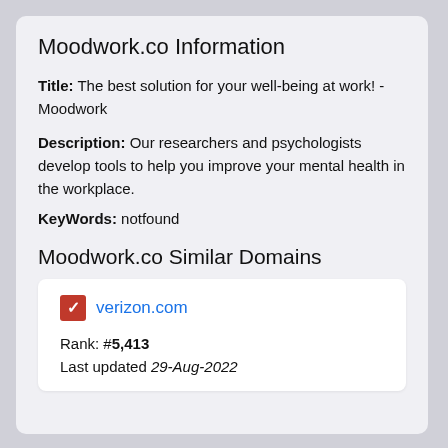Moodwork.co Information
Title: The best solution for your well-being at work! - Moodwork
Description: Our researchers and psychologists develop tools to help you improve your mental health in the workplace.
KeyWords: notfound
Moodwork.co Similar Domains
verizon.com
Rank: #5,413
Last updated 29-Aug-2022